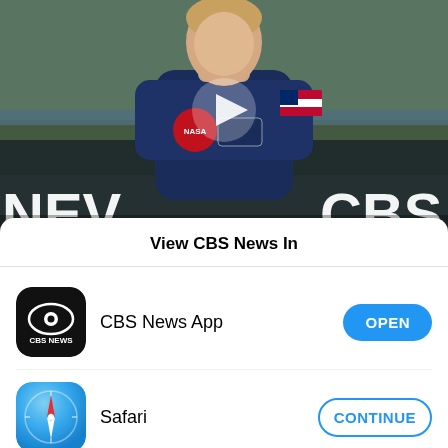[Figure (screenshot): Video thumbnail showing a female NASA astronaut in a blue flight suit with NASA patch and American flag patch, standing outdoors near a launch facility. A play button triangle is visible in the center. 'NEV' text appears bottom-left, 'CBS' top-right, and 'FACE THE NATION' banner at the bottom.]
View CBS News In
CBS News App — OPEN
Safari — CONTINUE